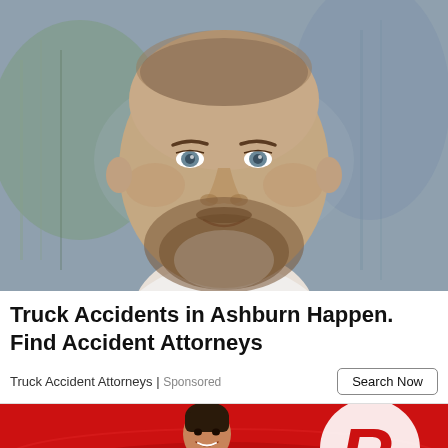[Figure (photo): Close-up portrait of a middle-aged bald/shaved-head man with a beard and blue eyes, wearing a white shirt, blurred background with glass building]
Truck Accidents in Ashburn Happen. Find Accident Attorneys
Truck Accident Attorneys | Sponsored
Search Now
[Figure (photo): Red background ad image with a young man in a red shirt smiling, and a large white letter R logo on the right side, stadium in background]